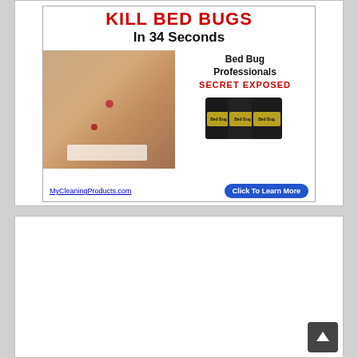[Figure (infographic): Advertisement banner for 'Kill Bed Bugs In 34 Seconds' from MyCleaningProducts.com. Shows a person's back with bed bug bite marks on the left side, and 'Bed Bug Professionals SECRET EXPOSED' with product images and a 'Click To Learn More' button on the right. URL MyCleaningProducts.com shown at bottom.]
[Figure (other): Empty white advertisement placeholder block below the main ad.]